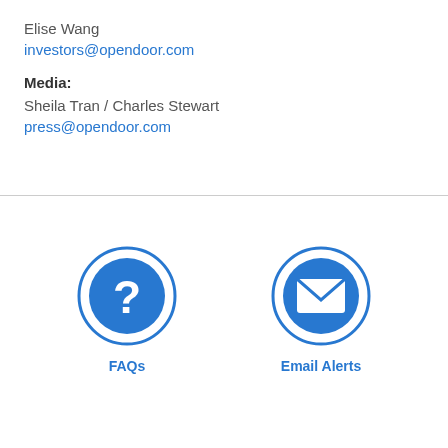Elise Wang
investors@opendoor.com
Media:
Sheila Tran / Charles Stewart
press@opendoor.com
[Figure (infographic): Two circular blue icons side by side. Left icon has a question mark symbol labeled 'FAQs'. Right icon has an envelope/email symbol labeled 'Email Alerts'.]